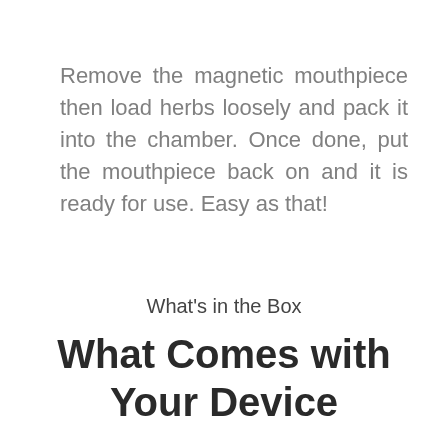Remove the magnetic mouthpiece then load herbs loosely and pack it into the chamber. Once done, put the mouthpiece back on and it is ready for use. Easy as that!
What's in the Box
What Comes with Your Device